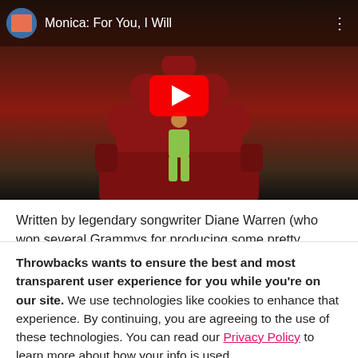[Figure (screenshot): YouTube video thumbnail showing Monica: For You, I Will. A figure in green outfit sits on a large red throne/sofa against a wood-paneled background. YouTube play button overlay visible. Video title bar at top with channel icon and title 'Monica: For You, I Will' plus three-dot menu.]
Written by legendary songwriter Diane Warren (who won several Grammys for producing some pretty
Throwbacks wants to ensure the best and most transparent user experience for you while you're on our site. We use technologies like cookies to enhance that experience. By continuing, you are agreeing to the use of these technologies. You can read our Privacy Policy to learn more about how your info is used.
I AGREE, LET'S GO!